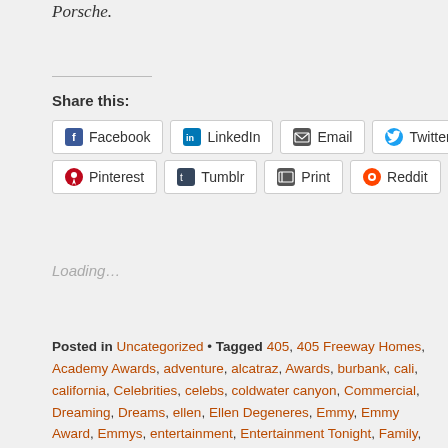Porsche.
Share this:
Facebook LinkedIn Email Twitter Pinterest Tumblr Print Reddit Pocket
Loading...
Posted in Uncategorized • Tagged 405, 405 Freeway Homes, Academy Awards, adventure, alcatraz, Awards, burbank, cali, california, Celebrities, celebs, coldwater canyon, Commercial, Dreaming, Dreams, ellen, Ellen Degeneres, Emmy, Emmy Award, Emmys, entertainment, Entertainment Tonight, Family, Fishermans wharf, Food, Freeway, Friends, Full House, full house show, getaway, Glamor, Glamour, Glendale, Glitz, Golden Globe Awards, Griffith Observatory, Griffith Park, Hills, Hollywood, Hollywood Blvd, Hollywood Hills, Hollywood Sign, Hugh Jackman